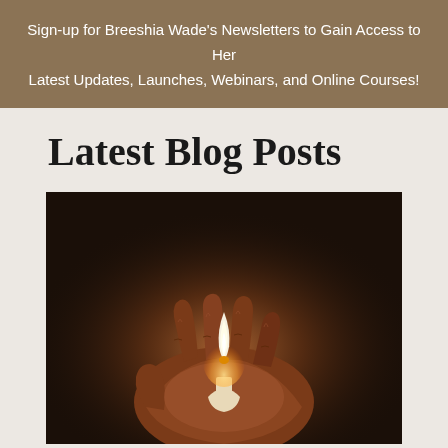Sign-up for Breeshia Wade's Newsletters to Gain Access to Her Latest Updates, Launches, Webinars, and Online Courses!
Latest Blog Posts
[Figure (photo): A photograph of a hand cupping a small lit candle flame against a dark background, warm amber tones]